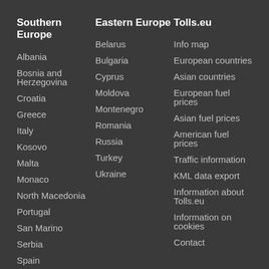Southern Europe
Eastern Europe
Tolls.eu
Albania
Bosnia and Herzegovina
Croatia
Greece
Italy
Kosovo
Malta
Monaco
North Macedonia
Portugal
San Marino
Serbia
Spain
Belarus
Bulgaria
Cyprus
Moldova
Montenegro
Romania
Russia
Turkey
Ukraine
Info map
European countries
Asian countries
European fuel prices
Asian fuel prices
American fuel prices
Traffic information
KML data export
Information about Tolls.eu
Information on cookies
Contact